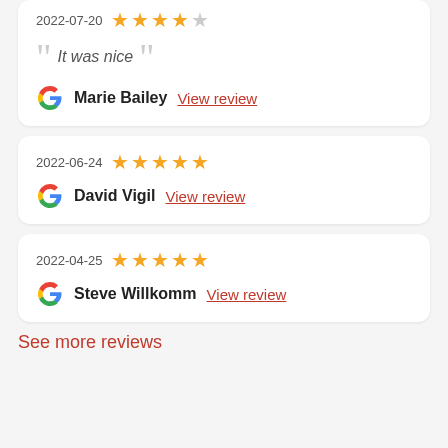2022-07-20 ★★★★☆ — It was nice
Marie Bailey View review
2022-06-24 ★★★★★
David Vigil View review
2022-04-25 ★★★★★
Steve Willkomm View review
See more reviews